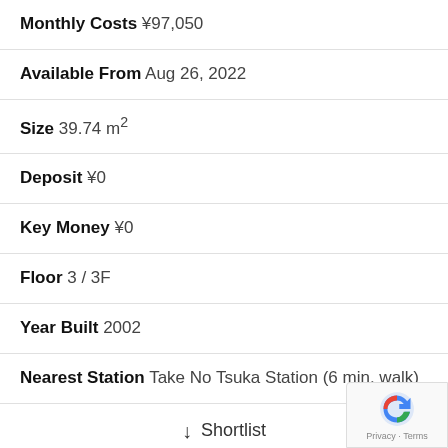Monthly Costs ¥97,050
Available From Aug 26, 2022
Size 39.74 m²
Deposit ¥0
Key Money ¥0
Floor 3 / 3F
Year Built 2002
Nearest Station Take No Tsuka Station (6 min. walk)
↓ Shortlist
[Figure (logo): Real estate agency logo (triangle/arrow shape in navy and red)]